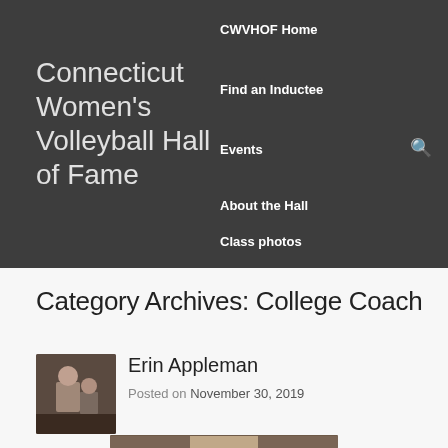Connecticut Women's Volleyball Hall of Fame
CWVHOF Home
Find an Inductee
Events
About the Hall
Class photos
Category Archives: College Coach
Erin Appleman
Posted on November 30, 2019
[Figure (photo): Thumbnail portrait photo for Erin Appleman post]
[Figure (photo): Partial bottom preview of a portrait photo]